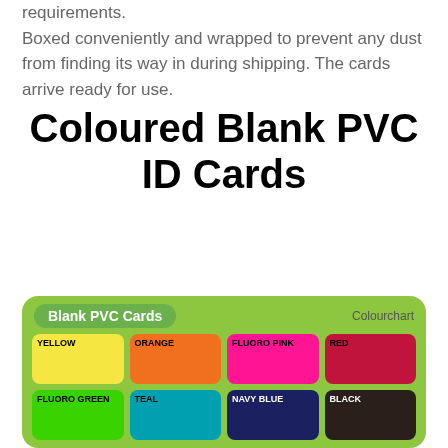requirements. Boxed conveniently and wrapped to prevent any dust from finding its way in during shipping. The cards arrive ready for use.
Coloured Blank PVC ID Cards
[Figure (infographic): Colour chart showing blank PVC card colours: Yellow, Orange, Fluoro Pink, Red, Fluoro Green, Teal, Navy Blue, Black — on a green background labeled 'Blank PVC Cards' and 'Colourchart']